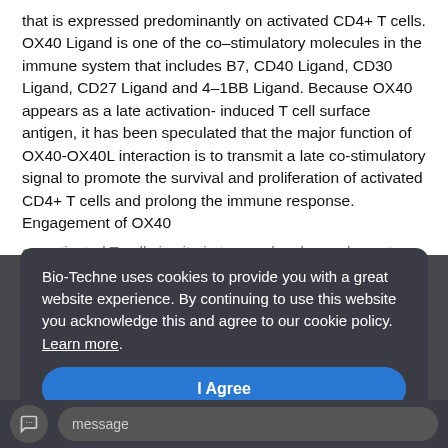that is expressed predominantly on activated CD4+ T cells. OX40 Ligand is one of the co–stimulatory molecules in the immune system that includes B7, CD40 Ligand, CD30 Ligand, CD27 Ligand and 4–1BB Ligand. Because OX40 appears as a late activation-induced T cell surface antigen, it has been speculated that the major function of OX40-OX40L interaction is to transmit a late co-stimulatory signal to promote the survival and proliferation of activated CD4+ T cells and prolong the immune response. Engagement of OX40 on activated T cells in situ in tumors has been shown to activate those responses, leading to anti-tumor regression.
Bio-Techne uses cookies to provide you with a great website experience. By continuing to use this website you acknowledge this and agree to our cookie policy. Learn more.
References
Godfrey, W.R., et al. (1994) J. Exp. Med. 18...
Ba...
AlShamkhani A., et al. (1997) J. Biol...